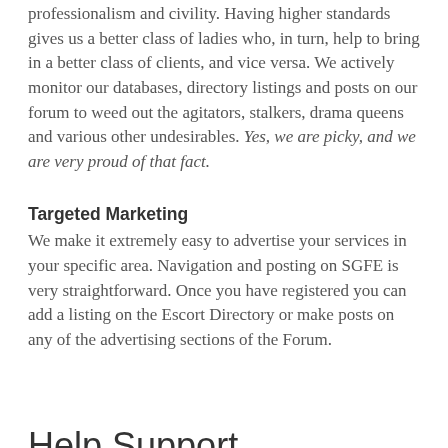professionalism and civility. Having higher standards gives us a better class of ladies who, in turn, help to bring in a better class of clients, and vice versa. We actively monitor our databases, directory listings and posts on our forum to weed out the agitators, stalkers, drama queens and various other undesirables. Yes, we are picky, and we are very proud of that fact.
Targeted Marketing
We make it extremely easy to advertise your services in your specific area. Navigation and posting on SGFE is very straightforward. Once you have registered you can add a listing on the Escort Directory or make posts on any of the advertising sections of the Forum.
Help Support SouthernGFE
SouthernGFE has been online since 2005. Since that time we have been dedicated to building a unique, professional and safe community for our members, without any of the drama, coercion and manipulation associated with many